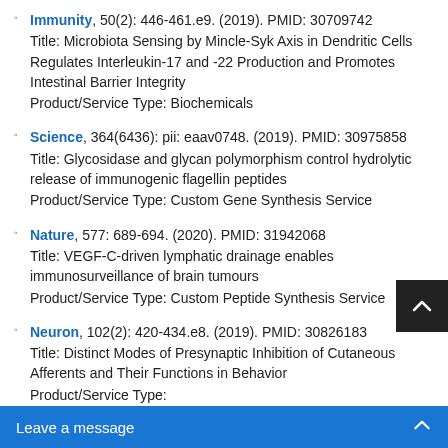Immunity, 50(2): 446-461.e9. (2019). PMID: 30709742
Title: Microbiota Sensing by Mincle-Syk Axis in Dendritic Cells Regulates Interleukin-17 and -22 Production and Promotes Intestinal Barrier Integrity
Product/Service Type: Biochemicals
Science, 364(6436): pii: eaav0748. (2019). PMID: 30975858
Title: Glycosidase and glycan polymorphism control hydrolytic release of immunogenic flagellin peptides
Product/Service Type: Custom Gene Synthesis Service
Nature, 577: 689-694. (2020). PMID: 31942068
Title: VEGF-C-driven lymphatic drainage enables immunosurveillance of brain tumours
Product/Service Type: Custom Peptide Synthesis Service
Neuron, 102(2): 420-434.e8. (2019). PMID: 30826183
Title: Distinct Modes of Presynaptic Inhibition of Cutaneous Afferents and Their Functions in Behavior
Product/Service Type: [partially visible]